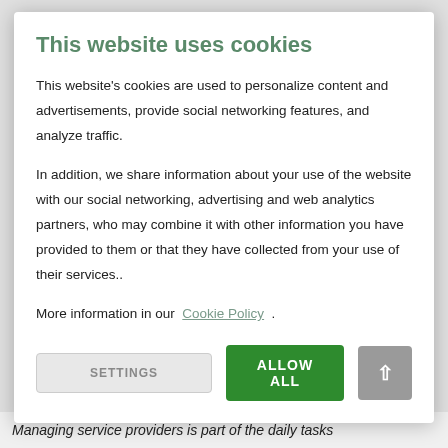This website uses cookies
This website's cookies are used to personalize content and advertisements, provide social networking features, and analyze traffic.
In addition, we share information about your use of the website with our social networking, advertising and web analytics partners, who may combine it with other information you have provided to them or that they have collected from your use of their services..
More information in our Cookie Policy .
SETTINGS  ALLOW ALL  ↑
Managing service providers is part of the daily tasks